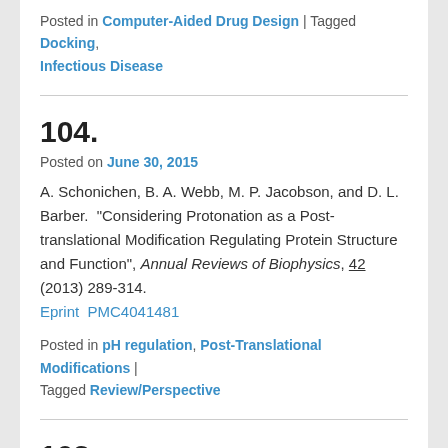Posted in Computer-Aided Drug Design | Tagged Docking, Infectious Disease
104.
Posted on June 30, 2015
A. Schonichen, B. A. Webb, M. P. Jacobson, and D. L. Barber. "Considering Protonation as a Post-translational Modification Regulating Protein Structure and Function", Annual Reviews of Biophysics, 42 (2013) 289-314. Eprint PMC4041481
Posted in pH regulation, Post-Translational Modifications | Tagged Review/Perspective
103.
Posted on June 30, 2015